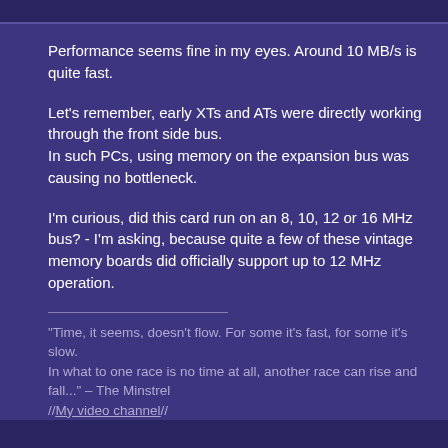Performance seems fine in my eyes. Around 10 MB/s is quite fast.
Let's remember, early XTs and ATs were directly working through the front side bus.
In such PCs, using memory on the expansion bus was causing no bottleneck.
I'm curious, did this card run on an 8, 10, 12 or 16 MHz bus? - I'm asking, because quite a few of these vintage memory boards did officially support up to 12 MHz operation.
"Time, it seems, doesn't flow. For some it's fast, for some it's slow.
In what to one race is no time at all, another race can rise and fall..." – The Minstrel
//My video channel//